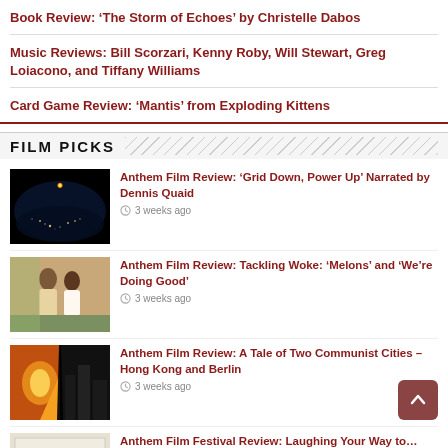Book Review: 'The Storm of Echoes' by Christelle Dabos
Music Reviews: Bill Scorzari, Kenny Roby, Will Stewart, Greg Loiacono, and Tiffany Williams
Card Game Review: 'Mantis' from Exploding Kittens
FILM PICKS
[Figure (photo): Night time Earth from space showing city lights]
Anthem Film Review: 'Grid Down, Power Up' Narrated by Dennis Quaid
3 weeks ago
[Figure (photo): Two people sitting together at an outdoor setting]
Anthem Film Review: Tackling Woke: 'Melons' and 'We're Doing Good'
3 weeks ago
[Figure (photo): Berlin gate with crack dividing the image, warm left side and dark right side]
Anthem Film Review: A Tale of Two Communist Cities – Hong Kong and Berlin
3 weeks ago
[Figure (photo): Book cover for 50 Social Distancing Dates]
Anthem Film Festival Review: Laughing Your Way to…